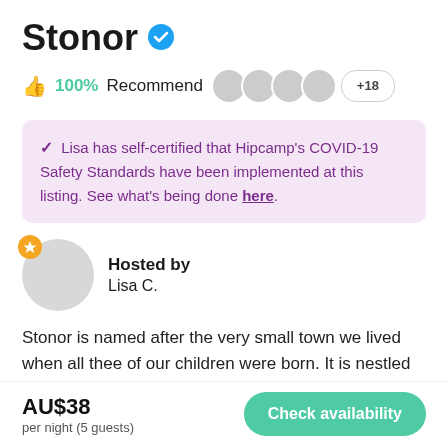Stonor
👍 100% Recommend  +18
✔ Lisa has self-certified that Hipcamp's COVID-19 Safety Standards have been implemented at this listing. See what's being done here.
Hosted by
Lisa C.
Stonor is named after the very small town we lived when all thee of our children were born. It is nestled along side our seasonal creek. This grassy site gets exceptional morning
AU$38
per night (5 guests)
Check availability